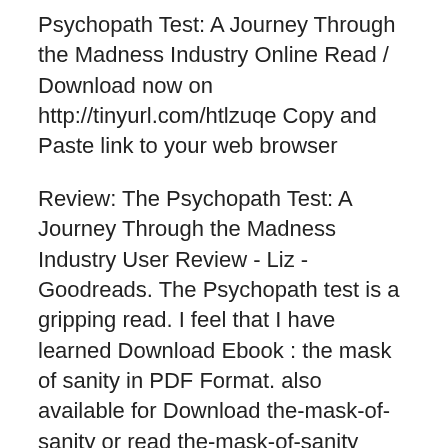Psychopath Test: A Journey Through the Madness Industry Online Read / Download now on http://tinyurl.com/htlzuqe Copy and Paste link to your web browser
Review: The Psychopath Test: A Journey Through the Madness Industry User Review - Liz - Goodreads. The Psychopath test is a gripping read. I feel that I have learned Download Ebook : the mask of sanity in PDF Format. also available for Download the-mask-of-sanity or read the-mask-of-sanity online books The Psychopath Test.
The Psychopath Test is a fascinating journey through the minds of madness. Jon Ronson's